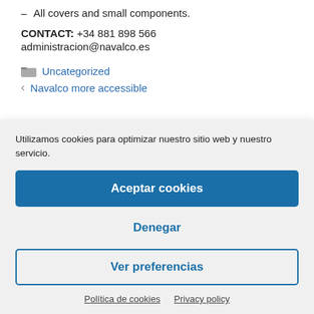All covers and small components.
CONTACT: +34 881 898 566
administracion@navalco.es
Uncategorized
Navalco more accessible
Utilizamos cookies para optimizar nuestro sitio web y nuestro servicio.
Aceptar cookies
Denegar
Ver preferencias
Política de cookies   Privacy policy